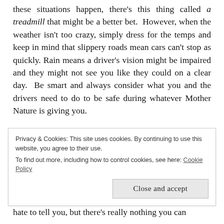these situations happen, there's this thing called a treadmill that might be a better bet. However, when the weather isn't too crazy, simply dress for the temps and keep in mind that slippery roads mean cars can't stop as quickly. Rain means a driver's vision might be impaired and they might not see you like they could on a clear day. Be smart and always consider what you and the drivers need to do to be safe during whatever Mother Nature is giving you.

Finally, the most important piece of defensive running advice… defending the run. And this is where
Privacy & Cookies: This site uses cookies. By continuing to use this website, you agree to their use.
To find out more, including how to control cookies, see here: Cookie Policy
Close and accept
hate to tell you, but there's really nothing you can